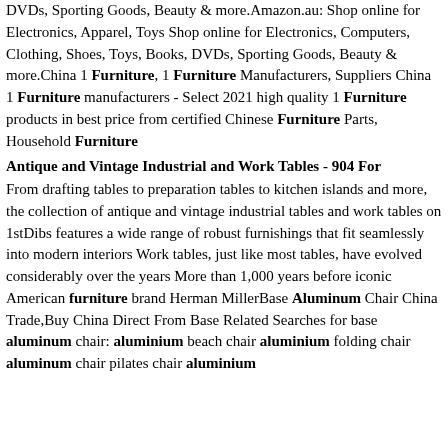DVDs, Sporting Goods, Beauty & more.Amazon.au: Shop online for Electronics, Apparel, Toys Shop online for Electronics, Computers, Clothing, Shoes, Toys, Books, DVDs, Sporting Goods, Beauty & more.China 1 Furniture, 1 Furniture Manufacturers, Suppliers China 1 Furniture manufacturers - Select 2021 high quality 1 Furniture products in best price from certified Chinese Furniture Parts, Household Furniture
Antique and Vintage Industrial and Work Tables - 904 For
From drafting tables to preparation tables to kitchen islands and more, the collection of antique and vintage industrial tables and work tables on 1stDibs features a wide range of robust furnishings that fit seamlessly into modern interiors Work tables, just like most tables, have evolved considerably over the years More than 1,000 years before iconic American furniture brand Herman MillerBase Aluminum Chair China Trade,Buy China Direct From Base Related Searches for base aluminum chair: aluminium beach chair aluminium folding chair aluminum chair pilates chair aluminium